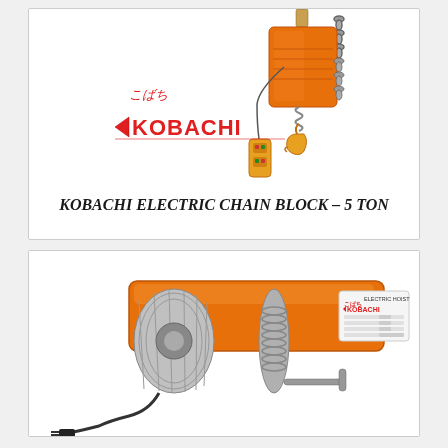[Figure (photo): Kobachi electric chain block 5 ton product image showing orange chain hoist with hook, control pendant, and chain. Kobachi brand logo in red with Japanese characters above.]
KOBACHI ELECTRIC CHAIN BLOCK – 5 TON
[Figure (photo): Kobachi electric hoist product photo showing orange body with silver motor housing, wire rope drum, control panel with Kobachi branding, and power cord.]